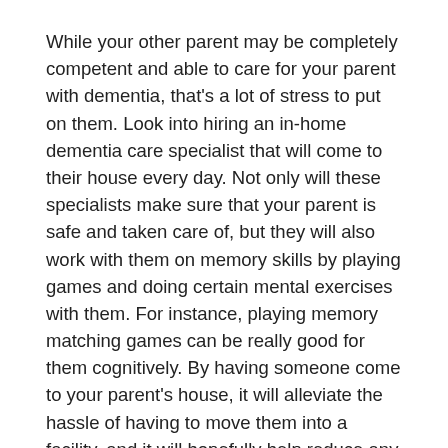While your other parent may be completely competent and able to care for your parent with dementia, that's a lot of stress to put on them. Look into hiring an in-home dementia care specialist that will come to their house every day. Not only will these specialists make sure that your parent is safe and taken care of, but they will also work with them on memory skills by playing games and doing certain mental exercises with them. For instance, playing memory matching games can be really good for them cognitively. By having someone come to your parent's house, it will alleviate the hassle of having to move them into a facility, and it will hopefully help reduce any more disorientation on their part by having them remain in a place they are familiar with.
Dementia Care Facility
Another thing that you can do is send your parent to a dementia care facility where they specialize in dementia and